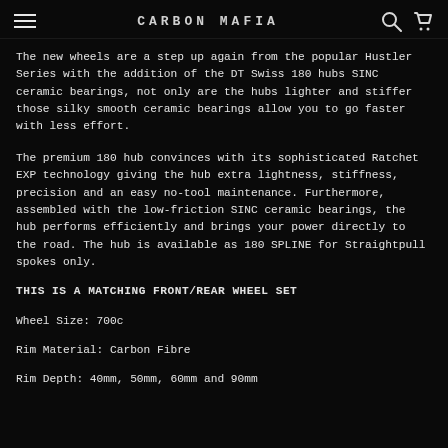CARBON MAFIA
The new wheels are a step up again from the popular Hustler Series with the addition of the DT Swiss 180 hubs SINC ceramic bearings, not only are the hubs lighter and stiffer those silky smooth ceramic bearings allow you to go faster with less effort.
The premium 180 hub convinces with its sophisticated Ratchet EXP technology giving the hub extra lightness, stiffness, precision and an easy no-tool maintenance. Furthermore, assembled with the low-friction SINC ceramic bearings, the hub performs efficiently and brings your power directly to the road. The hub is available as 180 SPLINE for Straightpull spokes only.
THIS IS A MATCHING FRONT/REAR WHEEL SET
Wheel Size: 700c
Rim Material: Carbon Fibre
Rim Depth: 40mm, 50mm, 60mm and 90mm